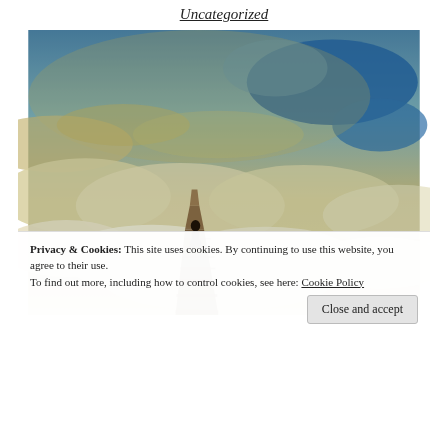Uncategorized
[Figure (photo): A person standing on a wooden boardwalk extending into a sea of clouds, with dramatic golden and blue sky above. Surreal, atmospheric photograph.]
Privacy & Cookies: This site uses cookies. By continuing to use this website, you agree to their use.
To find out more, including how to control cookies, see here: Cookie Policy
Close and accept